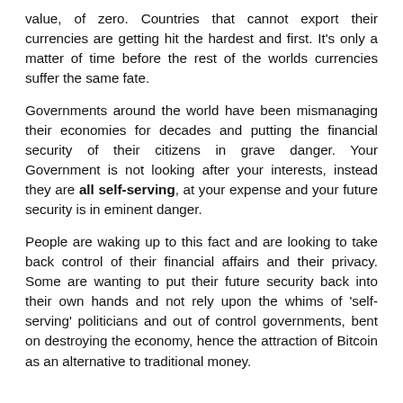value, of zero. Countries that cannot export their currencies are getting hit the hardest and first. It's only a matter of time before the rest of the worlds currencies suffer the same fate.
Governments around the world have been mismanaging their economies for decades and putting the financial security of their citizens in grave danger. Your Government is not looking after your interests, instead they are all self-serving, at your expense and your future security is in eminent danger.
People are waking up to this fact and are looking to take back control of their financial affairs and their privacy. Some are wanting to put their future security back into their own hands and not rely upon the whims of 'self-serving' politicians and out of control governments, bent on destroying the economy, hence the attraction of Bitcoin as an alternative to traditional money.